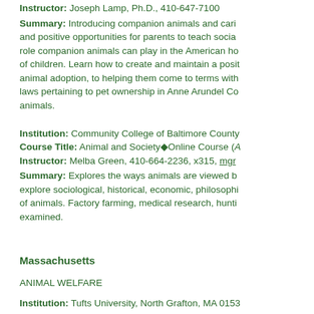Instructor: Joseph Lamp, Ph.D., 410-647-7100
Summary: Introducing companion animals and caring and positive opportunities for parents to teach social role companion animals can play in the American home of children. Learn how to create and maintain a positive animal adoption, to helping them come to terms with laws pertaining to pet ownership in Anne Arundel Co animals.
Institution: Community College of Baltimore County
Course Title: Animal and Society◆Online Course (A
Instructor: Melba Green, 410-664-2236, x315, mgr
Summary: Explores the ways animals are viewed by explore sociological, historical, economic, philosophi of animals. Factory farming, medical research, hunti examined.
Massachusetts
ANIMAL WELFARE
Institution: Tufts University, North Grafton, MA 0153
Course Title: Masters of Science in Animal Welfare
Instructor: Cory Patronsk, Director, 508-839-7901